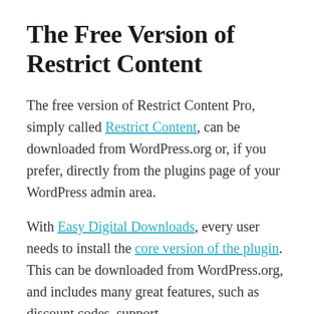The Free Version of Restrict Content
The free version of Restrict Content Pro, simply called Restrict Content, can be downloaded from WordPress.org or, if you prefer, directly from the plugins page of your WordPress admin area.
With Easy Digital Downloads, every user needs to install the core version of the plugin. This can be downloaded from WordPress.org, and includes many great features, such as discount codes, support